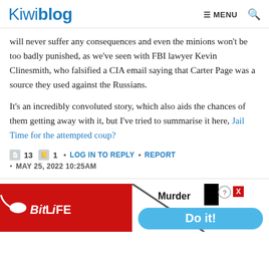Kiwiblog | ≡ MENU 🔍
will never suffer any consequences and even the minions won't be too badly punished, as we've seen with FBI lawyer Kevin Clinesmith, who falsified a CIA email saying that Carter Page was a source they used against the Russians.
It's an incredibly convoluted story, which also aids the chances of them getting away with it, but I've tried to summarise it here, Jail Time for the attempted coup?
🗂 13 🗒 1 • LOG IN TO REPLY • REPORT • MAY 25, 2022 10:25AM
[Figure (screenshot): BitLife advertisement banner showing red background with BitLife logo, sperm icon, diagonal slash graphic, 'Murder' text in black, and 'Do it!' button in blue]